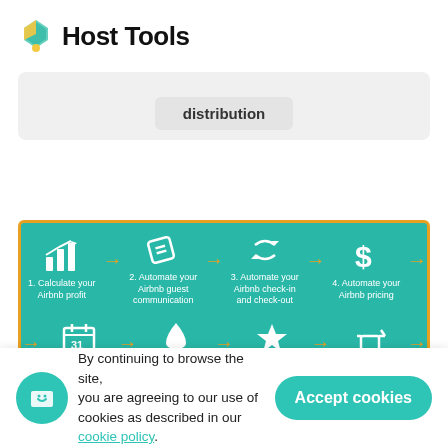Host Tools
distribution
[Figure (infographic): 8-step Airbnb hosting process infographic on teal background with gold border: 1. Calculate your Airbnb profit, 2. Automate your Airbnb guest communication, 3. Automate your Airbnb check-in and check-out, 4. Automate your Airbnb pricing, 5. Sync your Airbnb calendars, 6. Automate your Airbnb cleaning, 7. Automate your Airbnb reviews, 8. Buy Airbnb supplies in bulk. Steps connected by gold arrows.]
By continuing to browse the site, you are agreeing to our use of cookies as described in our cookie policy.